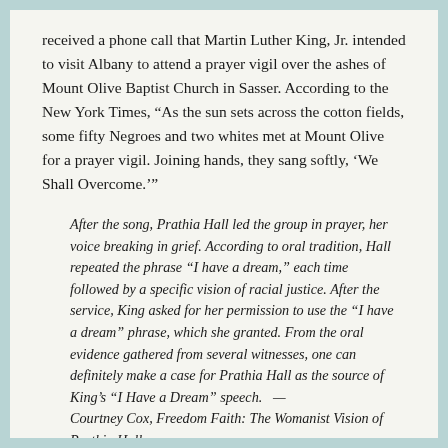received a phone call that Martin Luther King, Jr. intended to visit Albany to attend a prayer vigil over the ashes of Mount Olive Baptist Church in Sasser. According to the New York Times, “As the sun sets across the cotton fields, some fifty Negroes and two whites met at Mount Olive for a prayer vigil. Joining hands, they sang softly, ‘We Shall Overcome.’”
After the song, Prathia Hall led the group in prayer, her voice breaking in grief. According to oral tradition, Hall repeated the phrase “I have a dream,” each time followed by a specific vision of racial justice. After the service, King asked for her permission to use the “I have a dream” phrase, which she granted. From the oral evidence gathered from several witnesses, one can definitely make a case for Prathia Hall as the source of King’s “I Have a Dream” speech. — Courtney Cox, Freedom Faith: The Womanist Vision of Prathia Hall